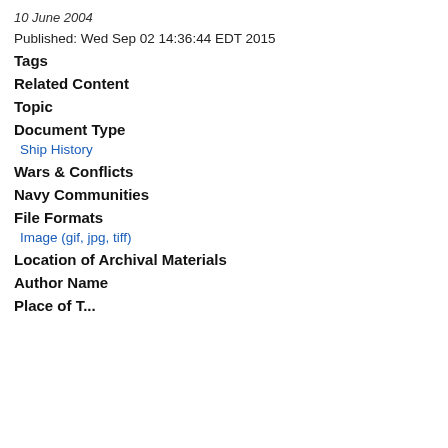10 June 2004
Published: Wed Sep 02 14:36:44 EDT 2015
Tags
Related Content
Topic
Document Type
Ship History
Wars & Conflicts
Navy Communities
File Formats
Image (gif, jpg, tiff)
Location of Archival Materials
Author Name
Place of...